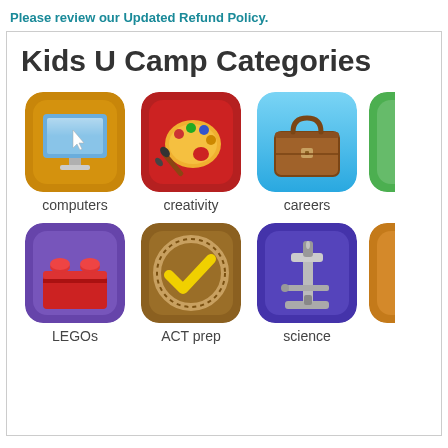Please review our Updated Refund Policy.
Kids U Camp Categories
[Figure (illustration): App-style icon grid showing camp categories: computers (monitor icon on orange background), creativity (paint palette on red background), careers (briefcase on blue background, partially cropped), LEGOs (red lego brick on purple background), ACT prep (checkmark on brown background), science (microscope on purple background), and a partially visible icon on the right edge.]
computers
creativity
careers
LEGOs
ACT prep
science